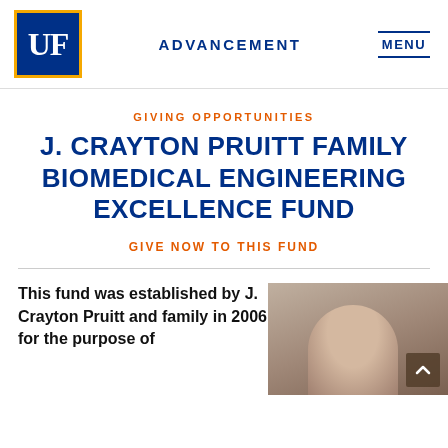UF | ADVANCEMENT | MENU
GIVING OPPORTUNITIES
J. CRAYTON PRUITT FAMILY BIOMEDICAL ENGINEERING EXCELLENCE FUND
GIVE NOW TO THIS FUND
This fund was established by J. Crayton Pruitt and family in 2006 for the purpose of
[Figure (photo): Photograph of J. Crayton Pruitt, partially visible, a man with gray hair]